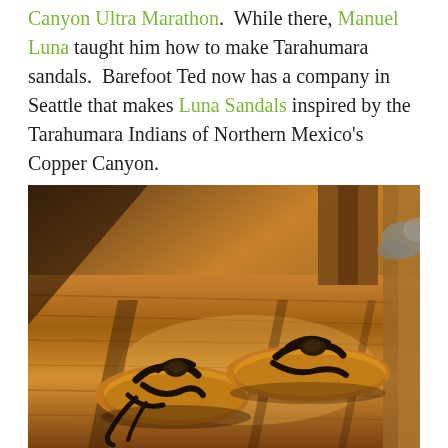Canyon Ultra Marathon.  While there, Manuel Luna taught him how to make Tarahumara sandals.  Barefoot Ted now has a company in Seattle that makes Luna Sandals inspired by the Tarahumara Indians of Northern Mexico's Copper Canyon.
[Figure (photo): Two leather Tarahumara-style sandals (Luna Sandals) with dark leather straps resting on a wooden surface in warm sunlight, with a wooden structure in the background.]